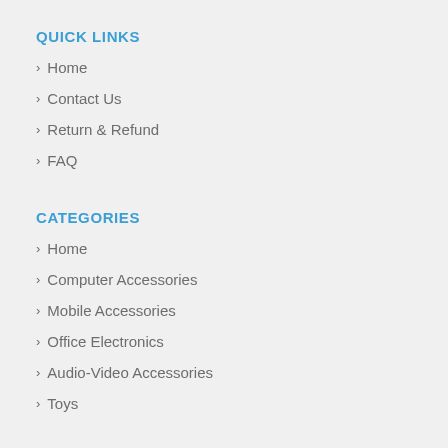QUICK LINKS
Home
Contact Us
Return & Refund
FAQ
CATEGORIES
Home
Computer Accessories
Mobile Accessories
Office Electronics
Audio-Video Accessories
Toys
CUSTOMER SERVICE